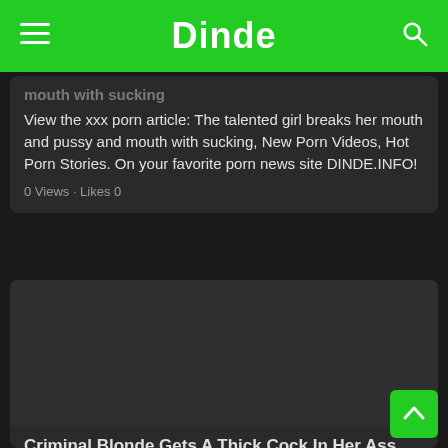Dinde
mouth with sucking
View the xxx porn article: The talented girl breaks her mouth and pussy and mouth with sucking, New Porn Videos, Hot Porn Stories. On your favorite porn news site DINDE.INFO!
0 Views · Likes 0
[Figure (photo): Dark/blank image placeholder for second article card]
Criminal Blonde Gets A Thick Cock In Her Ass Xxx
View the xxx porn article: Criminal Blonde Gets A Thick Cock In Her Ass Xxx, New Porn Videos, Hot Porn Stories. On your favorite porn news site DINDE.INFO!